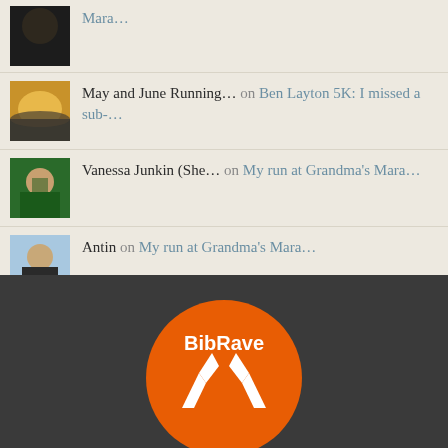Mara...
May and June Running... on Ben Layton 5K: I missed a sub-...
Vanessa Junkin (She... on My run at Grandma's Mara...
Antin on My run at Grandma's Mara...
[Figure (logo): BibRave orange circular logo with white runner icon and BibRave text]